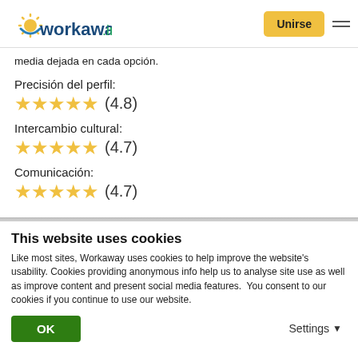workaway.info — Unirse
media dejada en cada opción.
Precisión del perfil:
★★★★★ (4.8)
Intercambio cultural:
★★★★★ (4.7)
Comunicación:
★★★★★ (4.7)
This website uses cookies
Like most sites, Workaway uses cookies to help improve the website's usability. Cookies providing anonymous info help us to analyse site use as well as improve content and present social media features.  You consent to our cookies if you continue to use our website.
OK    Settings ▼